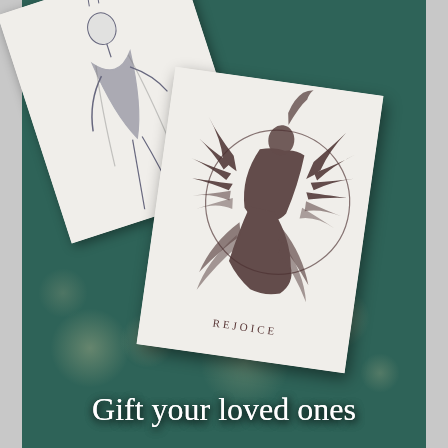[Figure (photo): A photograph showing two illustrated greeting cards on a dark teal surface with bokeh lights. The back card (tilted left) shows a figure illustration. The front card (tilted right) shows a detailed angel/winged figure with a halo circle and the word REJOICE printed below. The background has warm bokeh light spots.]
Gift your loved ones